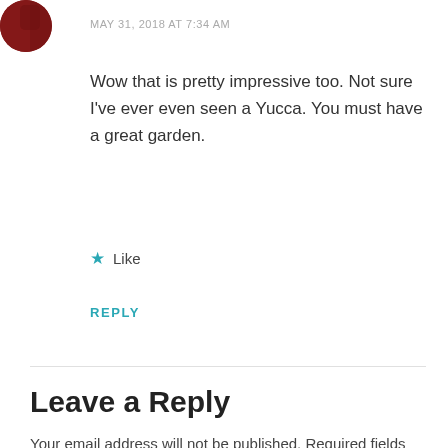[Figure (photo): Partial circular avatar photo showing a dark red/maroon image, cropped at top-left corner]
MAY 31, 2018 AT 7:34 AM
Wow that is pretty impressive too. Not sure I've ever even seen a Yucca. You must have a great garden.
★ Like
REPLY
Leave a Reply
Your email address will not be published. Required fields are marked *